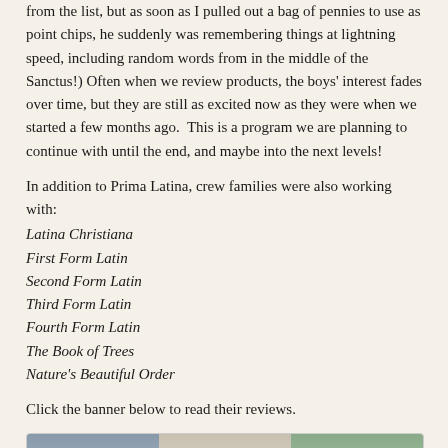from the list, but as soon as I pulled out a bag of pennies to use as point chips, he suddenly was remembering things at lightning speed, including random words from in the middle of the Sanctus!) Often when we review products, the boys' interest fades over time, but they are still as excited now as they were when we started a few months ago.  This is a program we are planning to continue with until the end, and maybe into the next levels!
In addition to Prima Latina, crew families were also working with:
Latina Christiana
First Form Latin
Second Form Latin
Third Form Latin
Fourth Form Latin
The Book of Trees
Nature's Beautiful Order
Click the banner below to read their reviews.
[Figure (photo): Banner image showing families/children studying together in three photo panels]